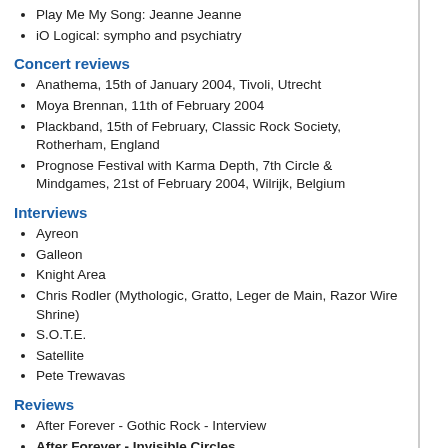Play Me My Song: Jeanne Jeanne
iO Logical: sympho and psychiatry
Concert reviews
Anathema, 15th of January 2004, Tivoli, Utrecht
Moya Brennan, 11th of February 2004
Plackband, 15th of February, Classic Rock Society, Rotherham, England
Prognose Festival with Karma Depth, 7th Circle & Mindgames, 21st of February 2004, Wilrijk, Belgium
Interviews
Ayreon
Galleon
Knight Area
Chris Rodler (Mythologic, Gratto, Leger de Main, Razor Wire Shrine)
S.O.T.E.
Satellite
Pete Trewavas
Reviews
After Forever - Gothic Rock - Interview
After Forever - Invisible Circles
Allan Holdsworth Group - Then!
Anand - Joy 4 Ever
Antithesy - Fuori I Secondi
Apogee - The Garden Of Delights
Ars Nova - Biogenesis Project